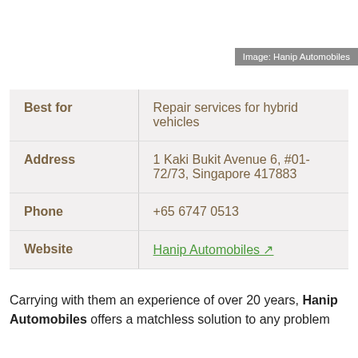Image: Hanip Automobiles
| Best for | Repair services for hybrid vehicles |
| Address | 1 Kaki Bukit Avenue 6, #01-72/73, Singapore 417883 |
| Phone | +65 6747 0513 |
| Website | Hanip Automobiles ↗ |
Carrying with them an experience of over 20 years, Hanip Automobiles offers a matchless solution to any problem